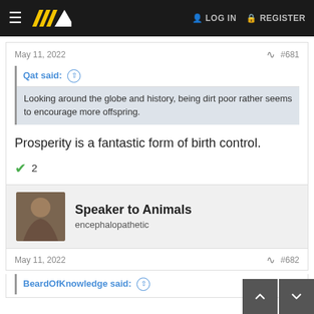≡  [logo]   LOG IN   REGISTER
May 11, 2022   #681
Qat said: ↑
Looking around the globe and history, being dirt poor rather seems to encourage more offspring.
Prosperity is a fantastic form of birth control.
✓ 2
Speaker to Animals
encephalopathetic
May 11, 2022   #682
BeardOfKnowledge said: ↑